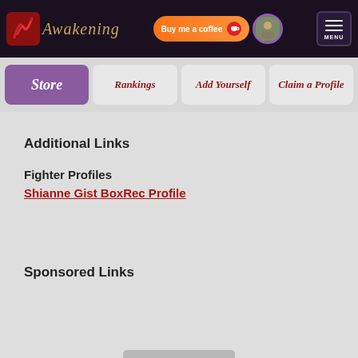Awakening — Buy me a coffee — MENU
Store | Rankings | Add Yourself | Claim a Profile
Additional Links
Fighter Profiles
Shianne Gist BoxRec Profile
Sponsored Links